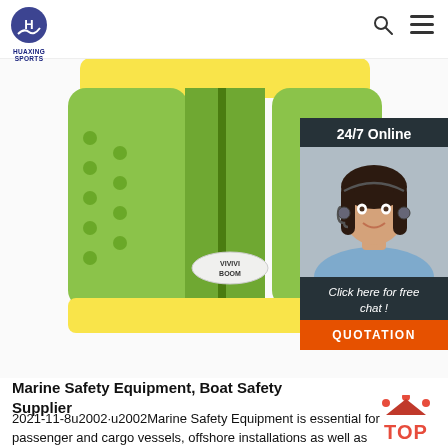HUAXING SPORTS
[Figure (photo): Green and yellow life jacket/swimming vest with BOOM logo label, photographed from front on white background]
[Figure (photo): 24/7 Online chat widget with photo of woman wearing headset, 'Click here for free chat!' text, and QUOTATION button]
Marine Safety Equipment, Boat Safety Supplier
2021-11-8u2002·u2002Marine Safety Equipment is essential for passenger and cargo vessels, offshore installations as well as fishing and yachting boats. Grand Ocean is a Chinese supplier with SOLAS MED certification offering a wide range of marine life-saving equipment, for